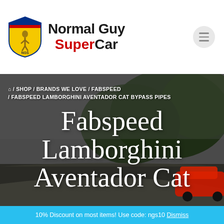[Figure (logo): Normal Guy SuperCar logo with yellow shield emblem and brand name text]
/ SHOP / BRANDS WE LOVE / FABSPEED / FABSPEED LAMBORGHINI AVENTADOR CAT BYPASS PIPES
Fabspeed Lamborghini Aventador Cat
10% Discount on most items! Use code: ngs10 Dismiss